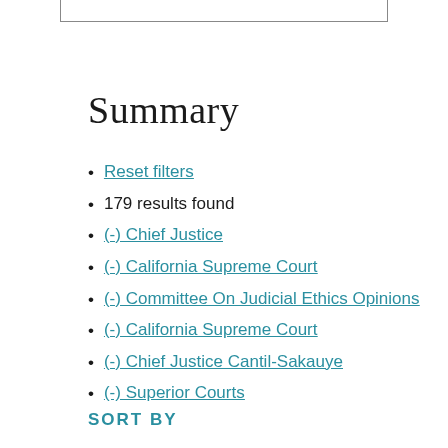Summary
Reset filters
179 results found
(-) Chief Justice
(-) California Supreme Court
(-) Committee On Judicial Ethics Opinions
(-) California Supreme Court
(-) Chief Justice Cantil-Sakauye
(-) Superior Courts
SORT BY